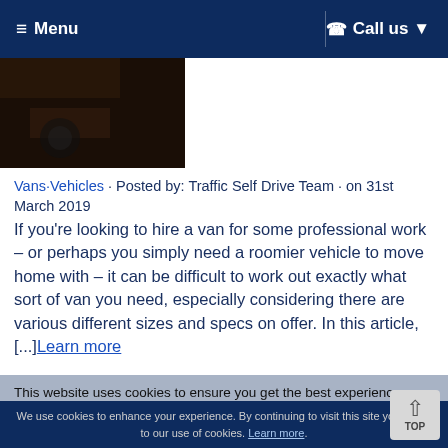≡ Menu    ☎ Call us ▼
[Figure (photo): Dark brown close-up photo, possibly a vehicle floor or surface]
Vans·Vehicles · Posted by: Traffic Self Drive Team · on 31st March 2019
If you're looking to hire a van for some professional work – or perhaps you simply need a roomier vehicle to move home with – it can be difficult to work out exactly what sort of van you need, especially considering there are various different sizes and specs on offer. In this article, [...]Learn more
This website uses cookies to ensure you get the best experience on our website.
A warm welcome at Heathrow!
We use cookies to enhance your experience. By continuing to visit this site you agree to our use of cookies. Learn more.